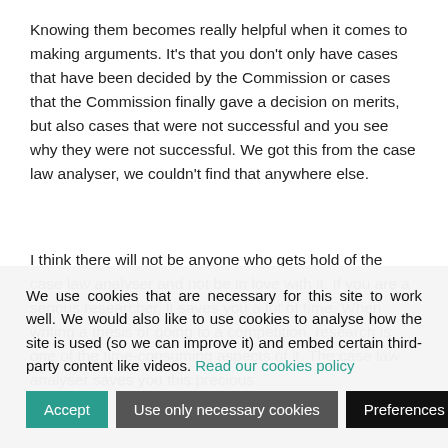Knowing them becomes really helpful when it comes to making arguments. It's that you don't only have cases that have been decided by the Commission or cases that the Commission finally gave a decision on merits, but also cases that were not successful and you see why they were not successful. We got this from the case law analyser, we couldn't find that anywhere else.
I think there will not be anyone who gets hold of the case law analyser and not be in love with it. If you are a serious researcher, it saves you a lot of time. When writing a thesis or going to a competition, research is one of the time-consuming aspects of it. The case law analyser saves you this precious
We use cookies that are necessary for this site to work well. We would also like to use cookies to analyse how the site is used (so we can improve it) and embed certain third-party content like videos. Read our cookies policy